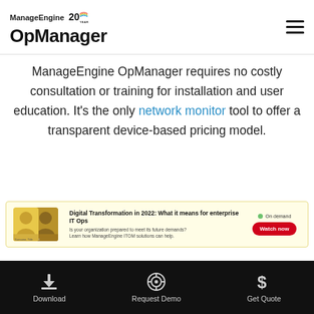ManageEngine OpManager
ManageEngine OpManager requires no costly consultation or training for installation and user education. It's the only network monitor tool to offer a transparent device-based pricing model.
[Figure (infographic): Advertisement banner: Digital Transformation in 2022: What it means for enterprise IT Ops. Is your organization prepared to meet its future demands? Learn how ManageEngine ITOM solutions can help. Watch now button. On demand.]
Download | Request Demo | Get Quote